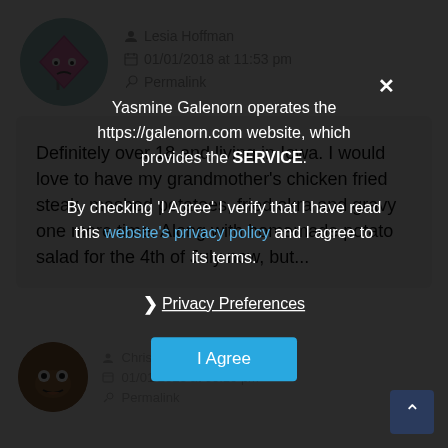[Figure (illustration): User avatar: circular teal/gray background with a pink diamond-shaped cartoon character with eyes and sad expression, holding a pole]
Lesia Hoffman
01/01/2018 at 11:53 pm
Permalink
Definitely over 18 and living in Iowa. I would love to have my grandmother's chicken fried steak, mashed potatoes, fried okra and gravy one more time. Along with homemade potato salad for the 4th of July now, but...
Yasmine Galenorn operates the https://galenorn.com website, which provides the SERVICE.

By checking 'I Agree' I verify that I have read this website's privacy policy and I agree to its terms.
Privacy Preferences
I Agree
[Figure (illustration): User avatar: circular brown background with a cartoon face character with big eyes and grinning expression]
Chris Dixin
01/01/2018 at 03:10 pm
Permalink